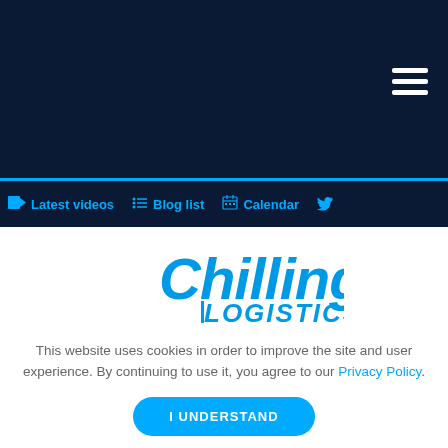[Figure (screenshot): Dark navy header background with hamburger menu icon (three white horizontal lines) in the top right corner]
Latest videos  Blog list  Calendar  Twitter
[Figure (logo): Chilling Logistics logo in blue with stylized text]
This website uses cookies in order to improve the site and user experience. By continuing to use it, you agree to our Privacy Policy.
I UNDERSTAND